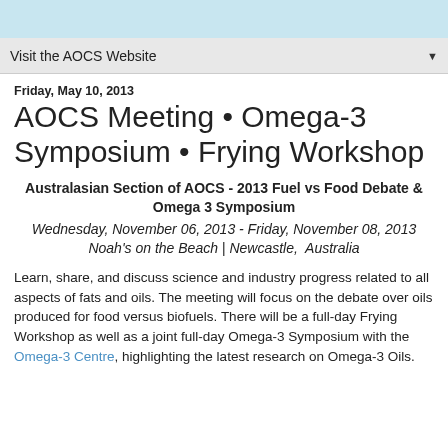Visit the AOCS Website
Friday, May 10, 2013
AOCS Meeting • Omega-3 Symposium • Frying Workshop
Australasian Section of AOCS - 2013 Fuel vs Food Debate & Omega 3 Symposium
Wednesday, November 06, 2013 - Friday, November 08, 2013
Noah's on the Beach | Newcastle,  Australia
Learn, share, and discuss science and industry progress related to all aspects of fats and oils. The meeting will focus on the debate over oils produced for food versus biofuels. There will be a full-day Frying Workshop as well as a joint full-day Omega-3 Symposium with the Omega-3 Centre, highlighting the latest research on Omega-3 Oils.